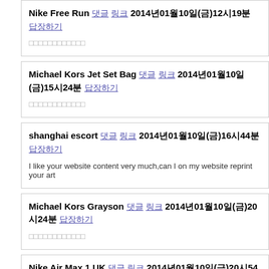Nike Free Run [link] [link] 2014년01월10일(금)12시19분 [link]
□□□□□□□□□□□□
Michael Kors Jet Set Bag [link] [link] 2014년01월10일(금)15시24분 [link]
□□□□□□□□□□□□
shanghai escort [link] [link] 2014년01월10일(금)16시44분 [link]
I like your website content very much,can I on my website reprint your art
Michael Kors Grayson [link] [link] 2014년01월10일(금)20시24분 [link]
□□□□□□□□□□□□
Nike Air Max 1 UK [link] [link] 2014년01월10일(금)20시54분 [link]
□□□□□□□□□□□□